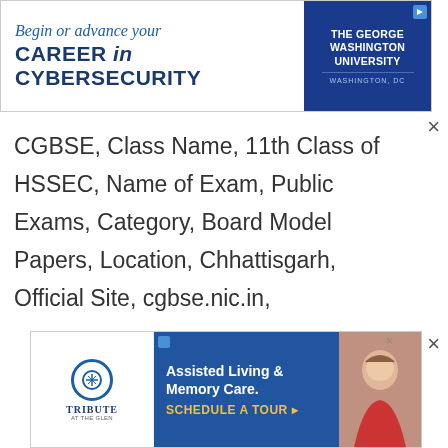[Figure (other): Advertisement banner for The George Washington University Cybersecurity program. Text reads: 'Begin or advance your CAREER in CYBERSECURITY'. Blue and white design with university logo on right.]
CGBSE, Class Name, 11th Class of HSSEC, Name of Exam, Public Exams, Category, Board Model Papers, Location, Chhattisgarh, Official Site, cgbse.nic.in,
[Figure (other): Advertisement banner for Tribute at the Glen assisted living facility. Text reads: 'Assisted Living & Memory Care. SCHEDULE A TOUR'. Blue background with photo of elderly person.]